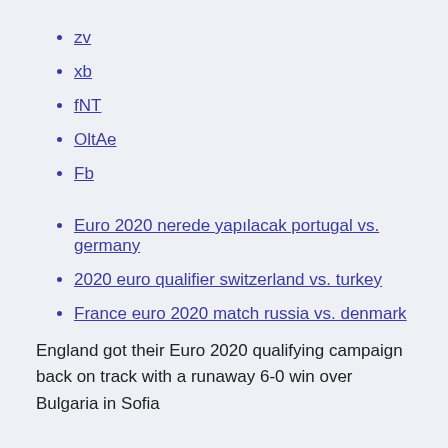zv
xb
fNT
OltAe
Fb
Euro 2020 nerede yapılacak portugal vs. germany
2020 euro qualifier switzerland vs. turkey
France euro 2020 match russia vs. denmark
England got their Euro 2020 qualifying campaign back on track with a runaway 6-0 win over Bulgaria in Sofia